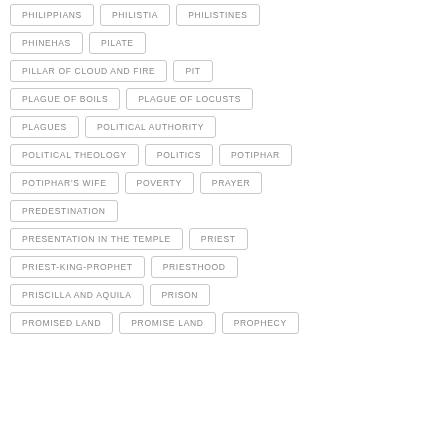PHILIPPIANS
PHILISTIA
PHILISTINES
PHINEHAS
PILATE
PILLAR OF CLOUD AND FIRE
PIT
PLAGUE OF BOILS
PLAGUE OF LOCUSTS
PLAGUES
POLITICAL AUTHORITY
POLITICAL THEOLOGY
POLITICS
POTIPHAR
POTIPHAR'S WIFE
POVERTY
PRAYER
PREDESTINATION
PRESENTATION IN THE TEMPLE
PRIEST
PRIEST-KING-PROPHET
PRIESTHOOD
PRISCILLA AND AQUILA
PRISON
PROMISED LAND
PROMISE LAND
PROPHECY